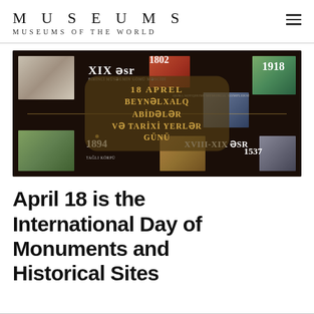MUSEUMS
MUSEUMS OF THE WORLD
[Figure (photo): A dark banner showing a historical monuments timeline infographic in Azerbaijani language. Center overlay reads '18 APREL BEYNƏLXALQ ABİDƏLƏR VƏ TARİXİ YERLƏR GÜNÜ'. Timeline dates visible: XIX əsr, 1802, 1918, 1894 (TAĞLI KÖRPÜ), XVIII-XIX ƏSR, 1537. Various historical site photographs arranged around the timeline.]
April 18 is the International Day of Monuments and Historical Sites